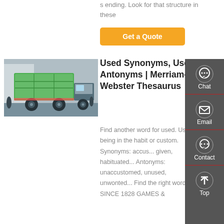s ending. Look for that structure in these
[Figure (other): Orange 'Get a Quote' button]
[Figure (photo): Green dump truck viewed from the rear-left, parked outdoors]
Used Synonyms, Used Antonyms | Merriam-Webster Thesaurus
Find another word for used. Used: being in the habit or custom. Synonyms: accus... given, habituated... Antonyms: unaccustomed, unused, unwonted... Find the right word. SINCE 1828 GAMES &
[Figure (infographic): Vertical sidebar with Chat, Email, Contact, and Top navigation icons on dark gray background]